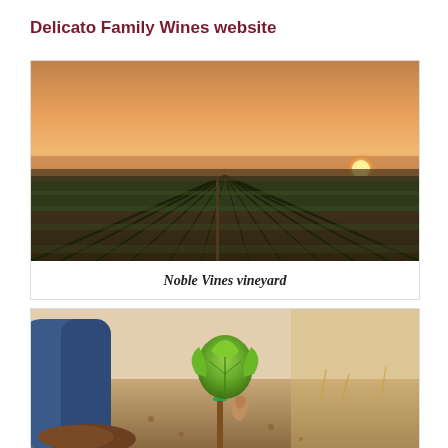Delicato Family Wines website
[Figure (photo): Wide-angle sunset photograph of Noble Vines vineyard rows stretching to the horizon under an orange sky]
Noble Vines vineyard
[Figure (photo): Close-up photograph of hands planting a young grapevine seedling with bright green leaves in brown soil]